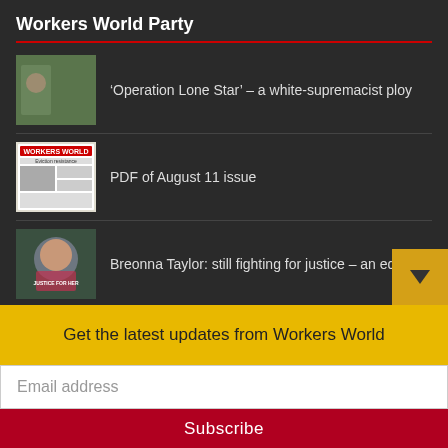Workers World Party
‘Operation Lone Star’ – a white-supremacist ploy
PDF of August 11 issue
Breonna Taylor: still fighting for justice – an editorial
Honor the legacy of Black August — Support Workers World
PDF of August 4 issue
Get the latest updates from Workers World
Email address
Subscribe